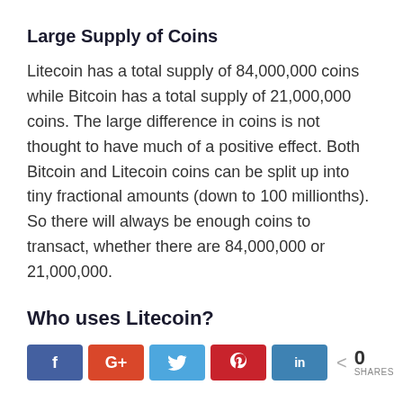Large Supply of Coins
Litecoin has a total supply of 84,000,000 coins while Bitcoin has a total supply of 21,000,000 coins. The large difference in coins is not thought to have much of a positive effect. Both Bitcoin and Litecoin coins can be split up into tiny fractional amounts (down to 100 millionths). So there will always be enough coins to transact, whether there are 84,000,000 or 21,000,000.
Who uses Litecoin?
[Figure (infographic): Social share buttons: Facebook (blue), Google+ (red-orange), Twitter (light blue), Pinterest (red), LinkedIn (blue), and a share count showing 0 SHARES]